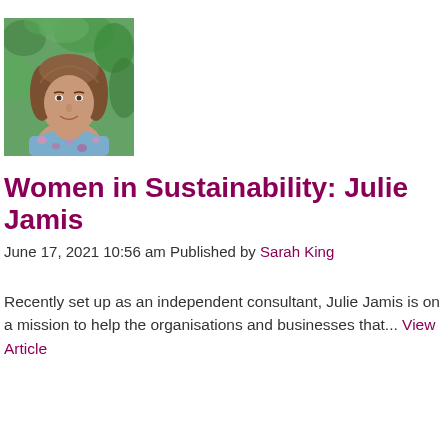[Figure (photo): Portrait photo of a woman with brown hair wearing a floral blue top, standing in front of green foliage outdoors.]
Women in Sustainability: Julie Jamis
June 17, 2021 10:56 am Published by Sarah King
Recently set up as an independent consultant, Julie Jamis is on a mission to help the organisations and businesses that... View Article